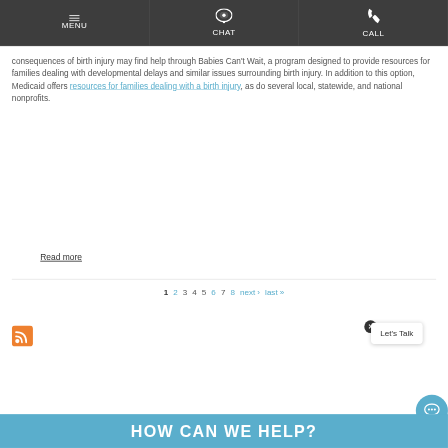MENU | CHAT | CALL
consequences of birth injury may find help through Babies Can't Wait, a program designed to provide resources for families dealing with developmental delays and similar issues surrounding birth injury. In addition to this option, Medicaid offers resources for families dealing with a birth injury, as do several local, statewide, and national nonprofits.
Read more
1 2 3 4 5 6 7 8 next › last »
[Figure (logo): RSS feed icon (orange square with white wifi-like symbol)]
Let's Talk
HOW CAN WE HELP?